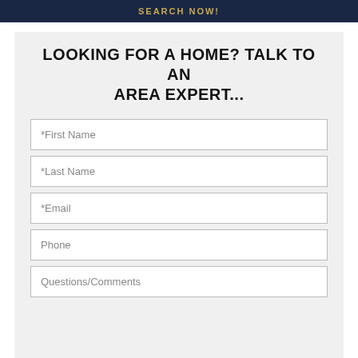SEARCH NOW!
LOOKING FOR A HOME? TALK TO AN AREA EXPERT...
*First Name
*Last Name
*Email
Phone
Questions/Comments